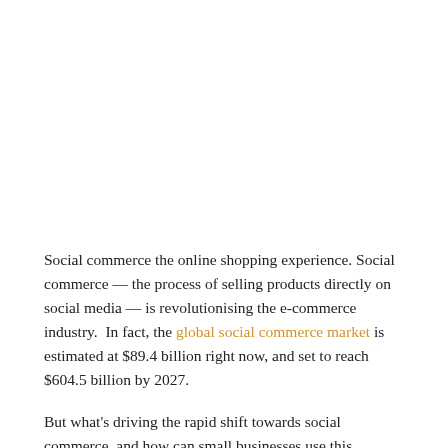Social commerce the online shopping experience. Social commerce — the process of selling products directly on social media — is revolutionising the e-commerce industry.  In fact, the global social commerce market is estimated at $89.4 billion right now, and set to reach $604.5 billion by 2027.
But what's driving the rapid shift towards social commerce, and how can small businesses use this